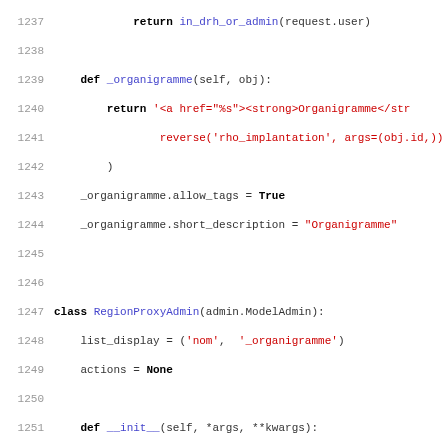[Figure (screenshot): Source code listing in Python showing Django admin classes, lines 1237-1268+, with syntax highlighting: keywords in bold black, function/class names in blue, strings in red, line numbers in gray.]